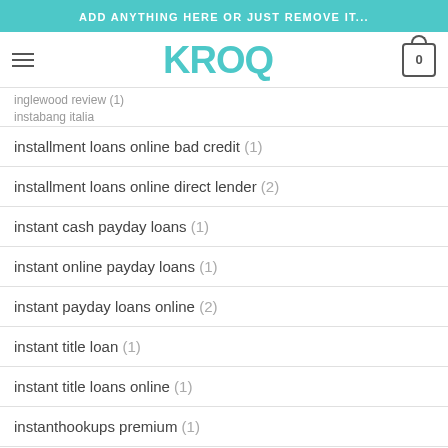ADD ANYTHING HERE OR JUST REMOVE IT...
[Figure (logo): KROQ logo in teal/turquoise color with hamburger menu icon on left and shopping cart icon with 0 on right]
inglewood review (1)
instabang italia
installment loans online bad credit (1)
installment loans online direct lender (2)
instant cash payday loans (1)
instant online payday loans (1)
instant payday loans online (2)
instant title loan (1)
instant title loans online (1)
instanthookups premium (1)
intellectual-dating review (1)